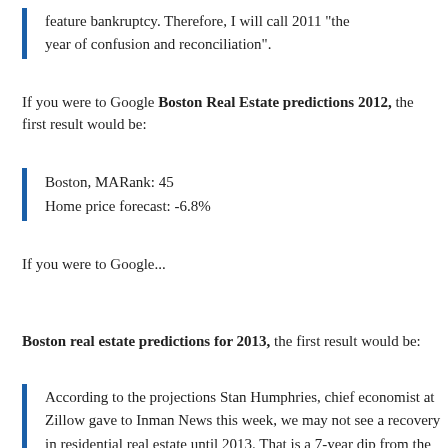feature bankruptcy. Therefore, I will call 2011 "the year of confusion and reconciliation".
If you were to Google Boston Real Estate predictions 2012, the first result would be:
Boston, MARank: 45
Home price forecast: -6.8%
If you were to Google...
Boston real estate predictions for 2013, the first result would be:
According to the projections Stan Humphries, chief economist at Zillow gave to Inman News this week, we may not see a recovery in residential real estate until 2013. That is a 7-year dip from the